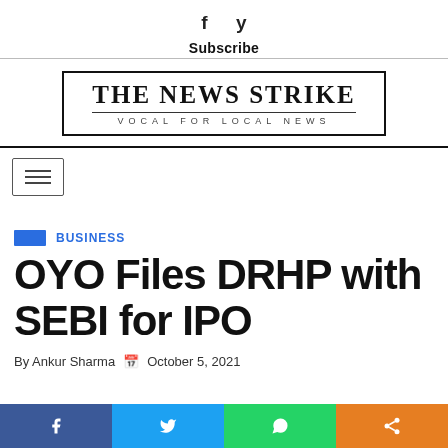f  y  Subscribe
[Figure (logo): The News Strike — Vocal for Local News logo]
[Figure (other): Hamburger menu navigation button]
BUSINESS
OYO Files DRHP with SEBI for IPO
By Ankur Sharma  October 5, 2021
f  Twitter  WhatsApp  Share (social sharing bar)